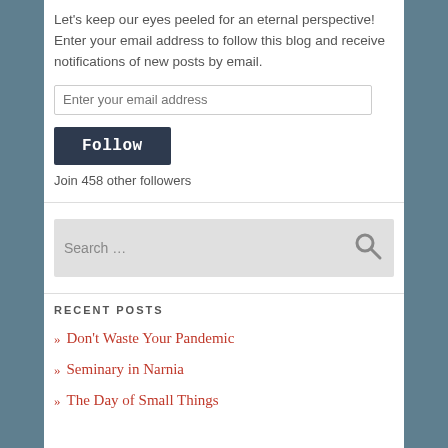Let's keep our eyes peeled for an eternal perspective! Enter your email address to follow this blog and receive notifications of new posts by email.
Enter your email address
Follow
Join 458 other followers
Search …
RECENT POSTS
» Don't Waste Your Pandemic
» Seminary in Narnia
» The Day of Small Things